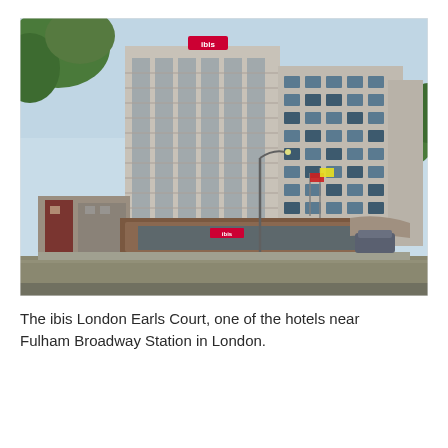[Figure (photo): Exterior photograph of the ibis London Earls Court hotel, a tall multi-storey concrete building with blue-tinted windows, a brown-clad entrance canopy at street level, a street lamp and road in the foreground, trees visible on both sides.]
The ibis London Earls Court, one of the hotels near Fulham Broadway Station in London.